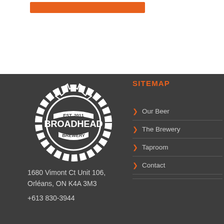[Figure (other): Orange rectangular button/bar at top of page]
[Figure (logo): Broadhead Brewery logo: white gear/cog shape with EST. 2011 text in a banner across the middle and BROADHEAD BREWERY text]
1680 Vimont Ct Unit 106, Orléans, ON K4A 3M3
+613 830-3944
SITEMAP
Our Beer
The Brewery
Taproom
Contact